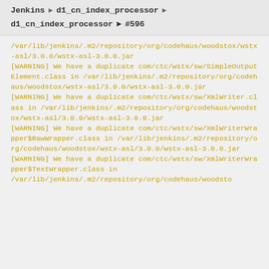Jenkins > d1_cn_index_processor >
d1_cn_index_processor > #596
/var/lib/jenkins/.m2/repository/org/codehaus/woodstox/wstx-asl/3.0.0/wstx-asl-3.0.0.jar
[WARNING] We have a duplicate com/ctc/wstx/sw/SimpleOutputElement.class in /var/lib/jenkins/.m2/repository/org/codehaus/woodstox/wstx-asl/3.0.0/wstx-asl-3.0.0.jar
[WARNING] We have a duplicate com/ctc/wstx/sw/XmlWriter.class in /var/lib/jenkins/.m2/repository/org/codehaus/woodstox/wstx-asl/3.0.0/wstx-asl-3.0.0.jar
[WARNING] We have a duplicate com/ctc/wstx/sw/XmlWriterWrapper$RawWrapper.class in /var/lib/jenkins/.m2/repository/org/codehaus/woodstox/wstx-asl/3.0.0/wstx-asl-3.0.0.jar
[WARNING] We have a duplicate com/ctc/wstx/sw/XmlWriterWrapper$TextWrapper.class in
/var/lib/jenkins/.m2/repository/org/codehaus/woodsto